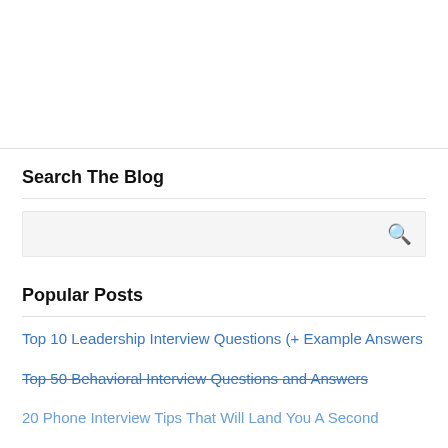[Figure (other): Blank white header area above a horizontal rule]
Search The Blog
[Figure (other): Search input box with magnifying glass icon on a light grey background]
Popular Posts
Top 10 Leadership Interview Questions (+ Example Answers
Top 50 Behavioral Interview Questions and Answers
20 Phone Interview Tips That Will Land You A Second